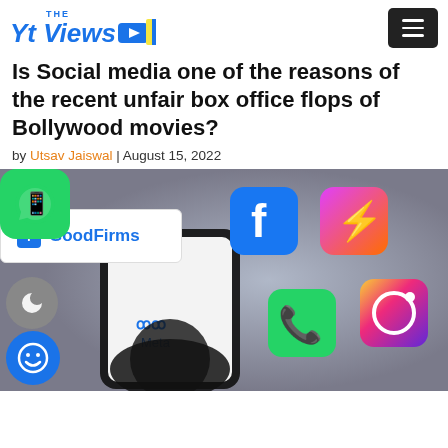The Yt Views
Is Social media one of the reasons of the recent unfair box office flops of Bollywood movies?
by Utsav Jaiswal | August 15, 2022
[Figure (photo): A hand holding a smartphone displaying the Meta logo, surrounded by social media app icons including Facebook, Messenger, Instagram, and WhatsApp on a blurred background. Overlaid with a GoodFirms logo badge.]